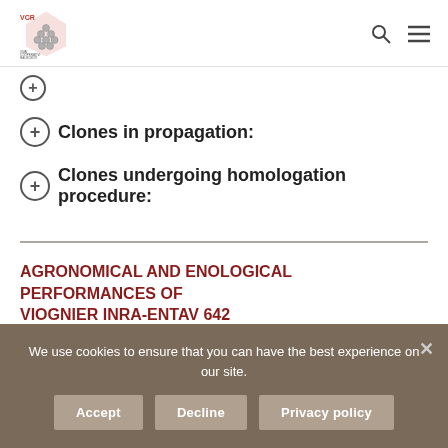VCR Vivai Cooperativi Rauscedo
Clones in propagation:
Clones undergoing homologation procedure:
AGRONOMICAL AND ENOLOGICAL PERFORMANCES OF VIOGNIER INRA-ENTAV 642
We use cookies to ensure that you can have the best experience on our site.